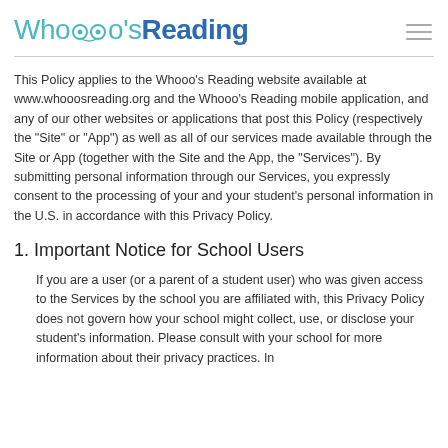Whooo's Reading
This Policy applies to the Whooo's Reading website available at www.whooosreading.org and the Whooo's Reading mobile application, and any of our other websites or applications that post this Policy (respectively the "Site" or "App") as well as all of our services made available through the Site or App (together with the Site and the App, the "Services"). By submitting personal information through our Services, you expressly consent to the processing of your and your student's personal information in the U.S. in accordance with this Privacy Policy.
1. Important Notice for School Users
If you are a user (or a parent of a student user) who was given access to the Services by the school you are affiliated with, this Privacy Policy does not govern how your school might collect, use, or disclose your student's information. Please consult with your school for more information about their privacy practices. In